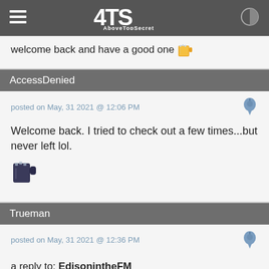ATS AboveTopSecret
welcome back and have a good one 🍺
AccessDenied
posted on May, 31 2021 @ 12:06 PM
Welcome back. I tried to check out a few times...but never left lol. 🍺
Trueman
posted on May, 31 2021 @ 12:36 PM
a reply to: EdisonintheFM